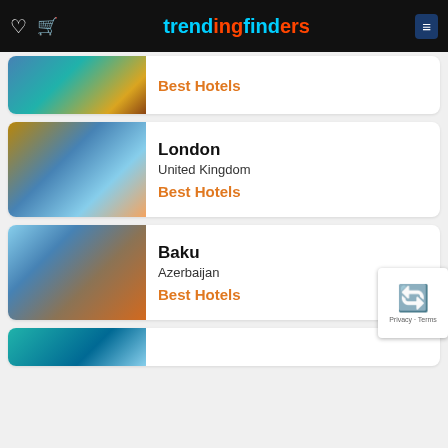trendingfinders
[Figure (photo): Partial card at top showing a waterfront/city image with Best Hotels link]
Best Hotels
[Figure (photo): Tower Bridge London at sunset]
London
United Kingdom
Best Hotels
[Figure (photo): Baku skyline with Flame Towers]
Baku
Azerbaijan
Best Hotels
[Figure (photo): Partial bottom card showing map/blue city image]